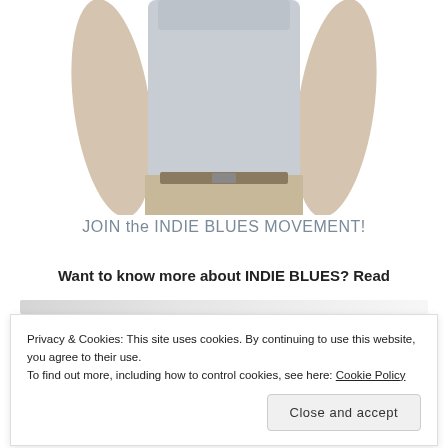[Figure (photo): Partial view of a man's torso wearing a light grey t-shirt and khaki pants, on a white background]
JOIN the INDIE BLUES MOVEMENT!
Want to know more about INDIE BLUES? Read
Privacy & Cookies: This site uses cookies. By continuing to use this website, you agree to their use.
To find out more, including how to control cookies, see here: Cookie Policy
Close and accept